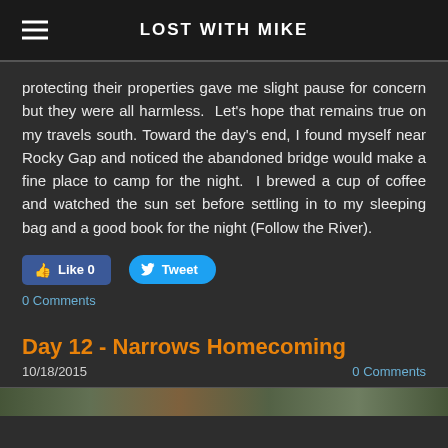LOST WITH MIKE
protecting their properties gave me slight pause for concern but they were all harmless. Let's hope that remains true on my travels south. Toward the day's end, I found myself near Rocky Gap and noticed the abandoned bridge would make a fine place to camp for the night. I brewed a cup of coffee and watched the sun set before settling in to my sleeping bag and a good book for the night (Follow the River).
Like 0   Tweet
0 Comments
Day 12 - Narrows Homecoming
10/18/2015
0 Comments
[Figure (photo): Photo strip at bottom of page]